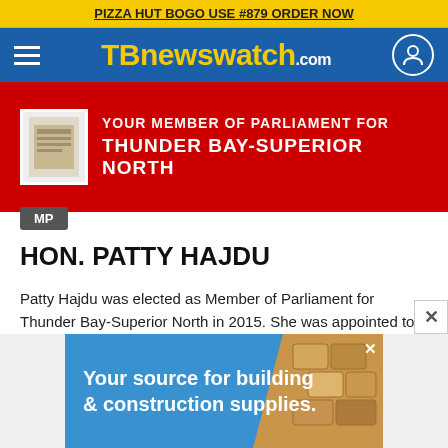PIZZA HUT BOGO USE #879 ORDER NOW
[Figure (screenshot): TBnewswatch.com website navigation bar with hamburger menu, yellow logo on blue background, and user icon]
[Figure (illustration): Red banner showing YOUR MEMBER OF PARLIAMENT FOR THUNDER BAY-SUPERIOR NORTH with MP badge]
HON. PATTY HAJDU
Patty Hajdu was elected as Member of Parliament for Thunder Bay-Superior North in 2015. She was appointed to cabinet by Prime Minister Justin Trudeau and has served as Minister of Status of Women, Minister of Employment, Workforce Development and
[Figure (illustration): Advertisement: Your source for building & construction supplies with wood block imagery]